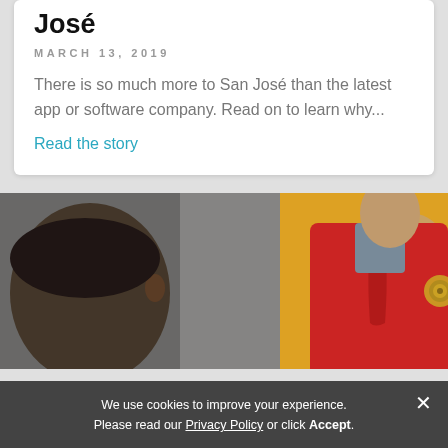José
MARCH 13, 2019
There is so much more to San José than the latest app or software company. Read on to learn why...
Read the story
[Figure (photo): Close-up photo of a person in a red jacket with a gold circular logo, speaking with someone]
We use cookies to improve your experience. Please read our Privacy Policy or click Accept.